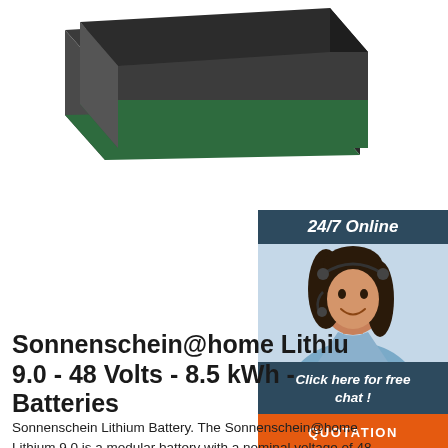[Figure (photo): A rectangular lithium battery unit with dark charcoal/black top half and dark green bottom half, photographed on white background]
[Figure (infographic): A customer support widget showing '24/7 Online' header in dark blue, a photo of a smiling female agent with a headset, text 'Click here for free chat!' and an orange 'QUOTATION' button]
Sonnenschein@home Lithium 9.0 - 48 Volts - 8.5 kWh - Batteries
Sonnenschein Lithium Battery. The Sonnenschein@home Lithium 9.0 is a modular battery with a nominal voltage of 48 volts (actually 54V). The chest-like battery features excellent cycle life (5000 cycles at 80% Depth of Discharge) with zero maintenance. Each module can store 8.5kWh of energy (usable energy 6.8kWh) and comes with